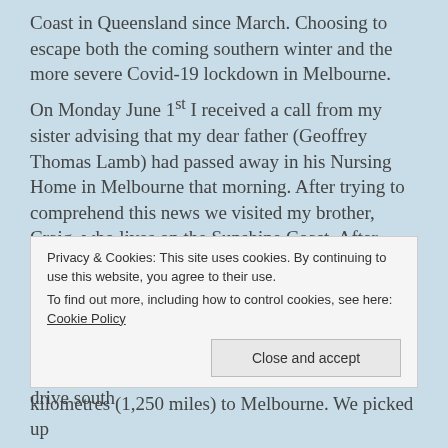Coast in Queensland since March. Choosing to escape both the coming southern winter and the more severe Covid-19 lockdown in Melbourne.
On Monday June 1st I received a call from my sister advising that my dear father (Geoffrey Thomas Lamb) had passed away in his Nursing Home in Melbourne that morning. After trying to comprehend this news we visited my brother, Craig, who lives on the Sunshine Coast. After consoling each other we determined what to do next.
The first order of business was getting down to Melbourne. Craig and his wife, Liane, notified their employers of the situation and started their drive south
Privacy & Cookies: This site uses cookies. By continuing to use this website, you agree to their use. To find out more, including how to control cookies, see here: Cookie Policy
Close and accept
kilometres (1,250 miles) to Melbourne. We picked up